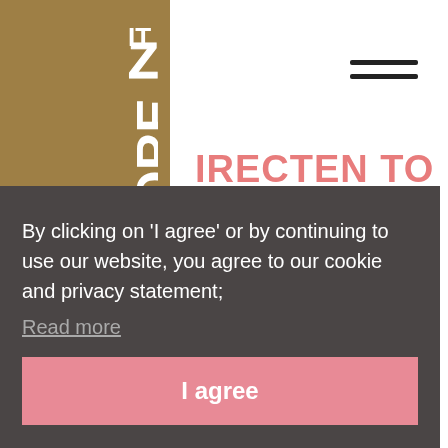[Figure (logo): MoreITZ logo on golden/tan brown background, white text reading MORE with IT superscript and Z]
[Figure (other): Hamburger menu icon, three horizontal dark lines]
IRECTEN TO
eca- en interieurconcepten
wlocatie Breda
FAQ
Kennisbank
By clicking on 'I agree' or by continuing to use our website, you agree to our cookie and privacy statement;
Read more
I agree
Van maandag tot en met zondag 24 uur per